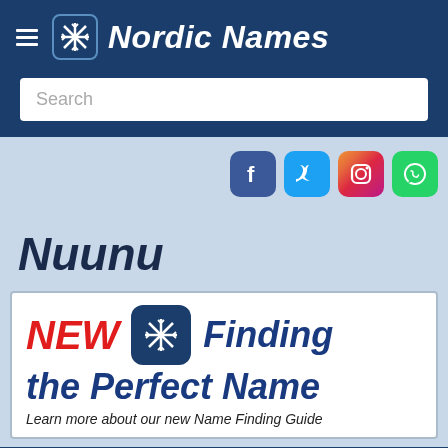Nordic Names
[Figure (screenshot): Search bar with placeholder text 'Search']
[Figure (infographic): Social media icons: Facebook, Twitter, Instagram, WhatsApp]
Nuunu
[Figure (infographic): Advertisement banner: NEW — Finding the Perfect Name. Learn more about our new Name Finding Guide]